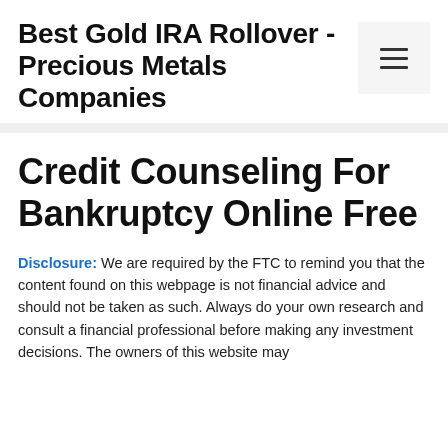Best Gold IRA Rollover - Precious Metals Companies
Credit Counseling For Bankruptcy Online Free
Disclosure: We are required by the FTC to remind you that the content found on this webpage is not financial advice and should not be taken as such. Always do your own research and consult a financial professional before making any investment decisions. The owners of this website may